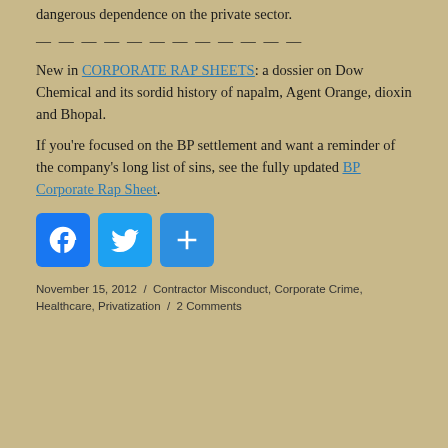dangerous dependence on the private sector.
— — — — — — — — — — — —
New in CORPORATE RAP SHEETS: a dossier on Dow Chemical and its sordid history of napalm, Agent Orange, dioxin and Bhopal.
If you're focused on the BP settlement and want a reminder of the company's long list of sins, see the fully updated BP Corporate Rap Sheet.
[Figure (other): Social media share buttons: Facebook, Twitter, and a generic share/plus button]
November 15, 2012 / Contractor Misconduct, Corporate Crime, Healthcare, Privatization / 2 Comments